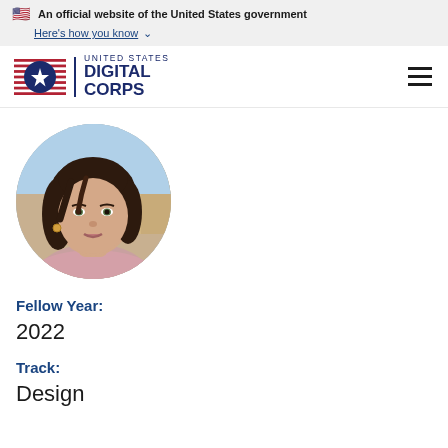An official website of the United States government Here's how you know
[Figure (logo): United States Digital Corps logo with American flag icon and text]
[Figure (photo): Circular profile photo of a young woman with dark wavy hair wearing a pink top, outdoors background]
Fellow Year:
2022
Track:
Design